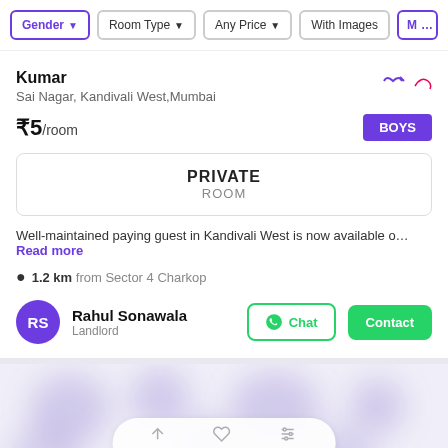Gender | Room Type | Any Price | With Images | M...
Kumar
Sai Nagar, Kandivali West,Mumbai
₹5/room
BOYS
PRIVATE
ROOM
Well-maintained paying guest in Kandivali West is now available o… Read more
1.2 km from Sector 4 Charkop
Rahul Sonawala
Landlord
[Figure (screenshot): Blurred background showing another property listing card with blurred content/images]